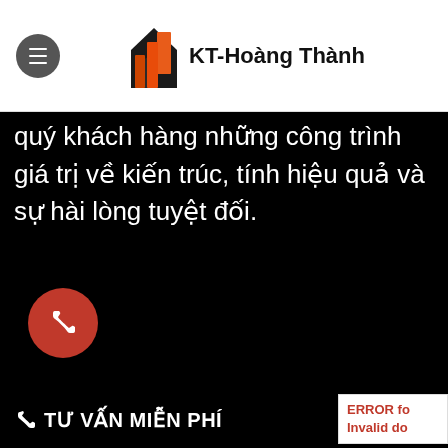[Figure (logo): KT-Hoàng Thành company logo with red/orange building icon and bold text]
quý khách hàng những công trình giá trị về kiến trúc, tính hiệu quả và sự hài lòng tuyệt đối.
[Figure (illustration): Red circular phone call button with white phone icon]
TƯ VẤN MIỄN PHÍ
ERROR fo
Invalid do